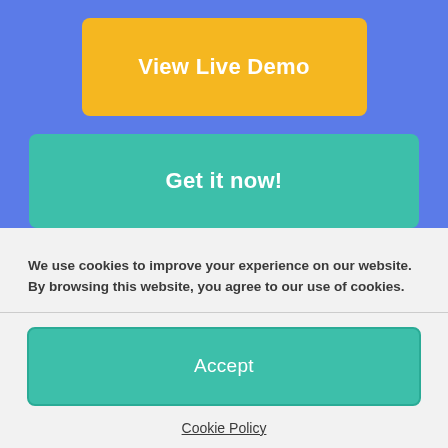[Figure (screenshot): Blue background section with a yellow 'View Live Demo' button and a teal 'Get it now!' button]
We use cookies to improve your experience on our website. By browsing this website, you agree to our use of cookies.
[Figure (screenshot): Teal 'Accept' button]
Cookie Policy